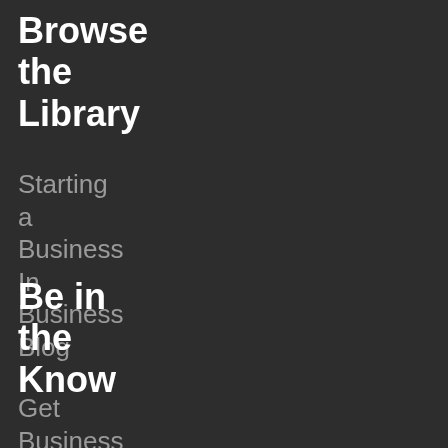Browse the Library
Starting a Business In Business Blog
Be in the Know
Get Business